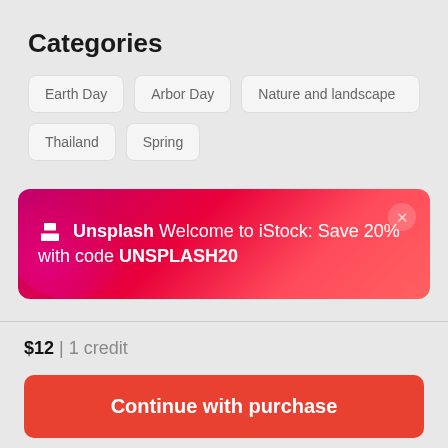Categories
Earth Day
Arbor Day
Nature and landscape
Thailand
Spring
[Figure (infographic): Promotional banner with gradient pink/red background. Unsplash logo on left with text: 'Unsplash Welcome to iStock: Save 20% with code UNSPLASH20'. Close button top right.]
$12 | 1 credit
Continue with purchase